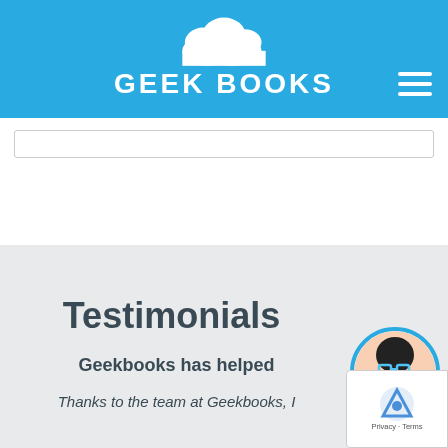GEEK BOOKS
[Figure (screenshot): Geek Books website screenshot showing logo with cloud icon, site title GEEK BOOKS on blue header, a search bar in white band, and a testimonials section in light gray with avatar and reCAPTCHA badge]
Testimonials
Geekbooks has helped
Thanks to the team at Geekbooks, I